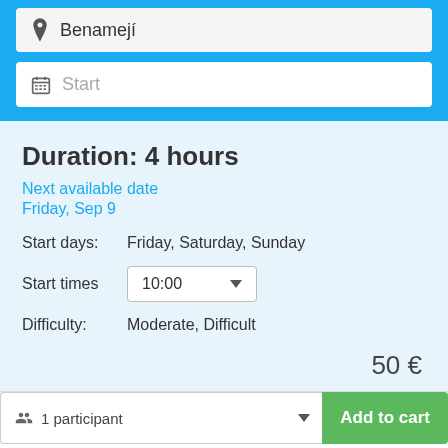Benamejí
Start
Duration: 4 hours
Next available date
Friday, Sep 9
Start days: Friday, Saturday, Sunday
Start times 10:00
Difficulty: Moderate, Difficult
50 €
1 participant
Add to cart